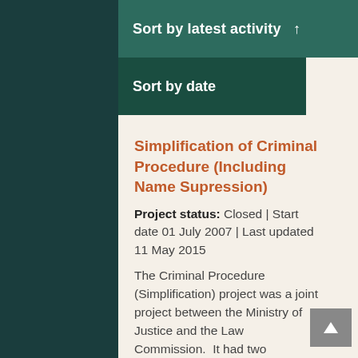Sort by latest activity ↑
Sort by date
Simplification of Criminal Procedure (Including Name Supression)
Project status: Closed | Start date 01 July 2007 | Last updated 11 May 2015
The Criminal Procedure (Simplification) project was a joint project between the Ministry of Justice and the Law Commission.  It had two objectives: to reduce unnecessary court delays through legislative and operational change, and to create a